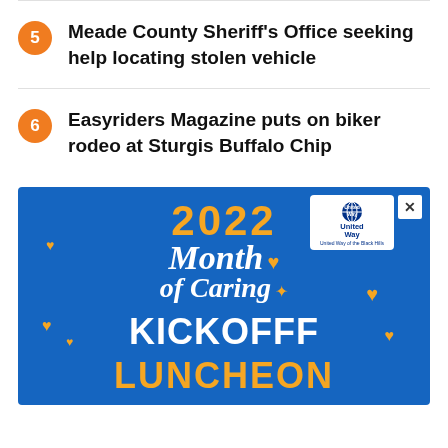5 Meade County Sheriff's Office seeking help locating stolen vehicle
6 Easyriders Magazine puts on biker rodeo at Sturgis Buffalo Chip
[Figure (infographic): 2022 Month of Caring Kickoff Luncheon advertisement by United Way of the Black Hills on a blue background with gold and white text and heart decorations]